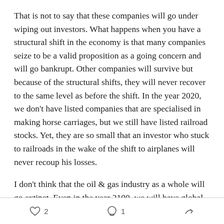That is not to say that these companies will go under wiping out investors. What happens when you have a structural shift in the economy is that many companies seize to be a valid proposition as a going concern and will go bankrupt. Other companies will survive but because of the structural shifts, they will never recover to the same level as before the shift. In the year 2020, we don't have listed companies that are specialised in making horse carriages, but we still have listed railroad stocks. Yet, they are so small that an investor who stuck to railroads in the wake of the shift to airplanes will never recoup his losses.
I don't think that the oil & gas industry as a whole will go extinct. Even in the year 2100, we will have global oil
♡ 2   ○ 1   ↪